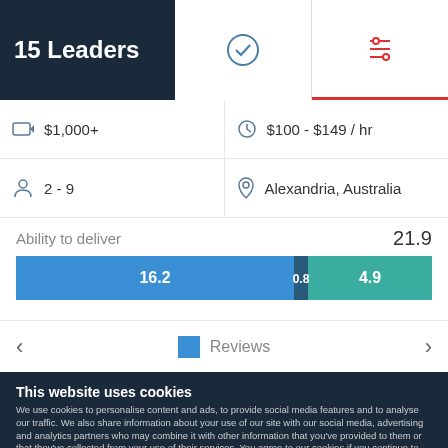15 Leaders
[Figure (infographic): Stacked horizontal bar chart showing ability to deliver score of 21.9, with segments 16.2 (blue), 0.8 (dark), and 4.9 (teal)]
|  | Value |  | Value |
| --- | --- | --- | --- |
| [tag icon] | $1,000+ | [clock icon] | $100 - $149 / hr |
| [person icon] | 2 - 9 | [location icon] | Alexandria, Australia |
Ability to deliver  21.9
Reviews
This website uses cookies
We use cookies to personalise content and ads, to provide social media features and to analyse our traffic. We also share information about your use of our site with our social media, advertising and analytics partners who may combine it with other information that you've provided to them or that they've collected from your use of their services. You agree to our cookies if you continue to use our website.
Close
Show details